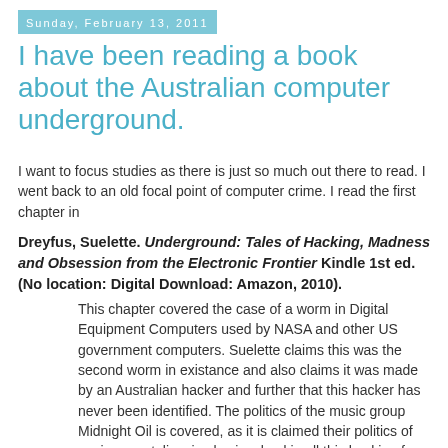Sunday, February 13, 2011
I have been reading a book about the Australian computer underground.
I want to focus studies as there is just so much out there to read. I went back to an old focal point of computer crime. I read the first chapter in
Dreyfus, Suelette. Underground: Tales of Hacking, Madness and Obsession from the Electronic Frontier Kindle 1st ed. (No location: Digital Download: Amazon, 2010).
This chapter covered the case of a worm in Digital Equipment Computers used by NASA and other US government computers. Suelette claims this was the second worm in existance and also claims it was made by an Australian hacker and further that this hacker has never been identified. The politics of the music group Midnight Oil is covered, as it is claimed their politics of environmentalism is also involved in all this hacking from Australia.